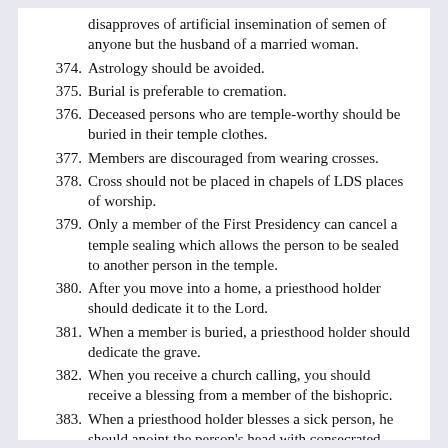disapproves of artificial insemination of semen of anyone but the husband of a married woman.
374. Astrology should be avoided.
375. Burial is preferable to cremation.
376. Deceased persons who are temple-worthy should be buried in their temple clothes.
377. Members are discouraged from wearing crosses.
378. Cross should not be placed in chapels of LDS places of worship.
379. Only a member of the First Presidency can cancel a temple sealing which allows the person to be sealed to another person in the temple.
380. After you move into a home, a priesthood holder should dedicate it to the Lord.
381. When a member is buried, a priesthood holder should dedicate the grave.
382. When you receive a church calling, you should receive a blessing from a member of the bishopric.
383. When a priesthood holder blesses a sick person, he should anoint the person's head with consecrated olive oil.